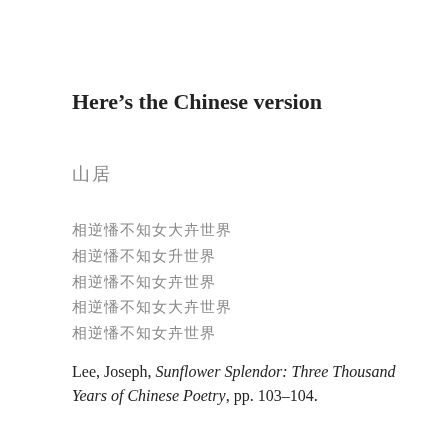Here’s the Chinese version
山居
相逆憣不知处大卩世界
相逆憣不知处大卉世界
相逆憣不知处大卉世界
相逆憣不知女大卉世界
相逆憣不知女卉世界
Lee, Joseph, Sunflower Splendor: Three Thousand Years of Chinese Poetry, pp. 103–104.